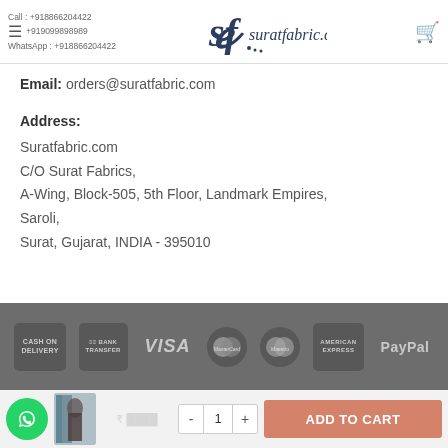Call: +918866204422  +919099898989  suratfabric.com  WhatsApp: +918866204422
Email: orders@suratfabric.com
Address:
Suratfabric.com
C/O Surat Fabrics,
A-Wing, Block-505, 5th Floor, Landmark Empires,
Saroli,
Surat, Gujarat, INDIA - 395010
[Figure (infographic): Payment method icons row: Cash on Delivery, Bank Transfer, VISA, MasterCard, Maestro, American Express, PayPal on dark grey background]
[Figure (infographic): Bottom bar with WhatsApp button, product thumbnail, quantity control (- 1 +), and ADD TO CART button]